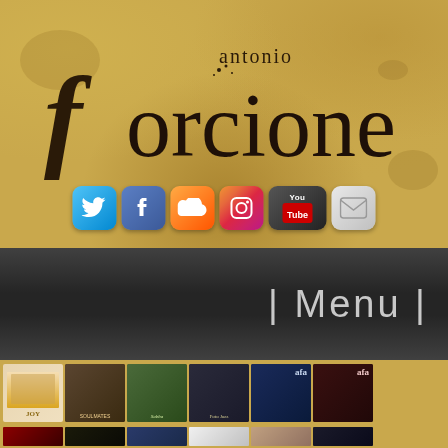[Figure (logo): Antonio Forcione stylized text logo on aged parchment/gold background with social media icons (Twitter, Facebook, SoundCloud, Instagram, YouTube, Email)]
| Menu |
[Figure (photo): Row of album cover thumbnails: Joy (group photo), Soulmates Beyond (laughing couple), Sabba (woman and man), Foto Jazz cover, afa live performance blue, afa concert red/dark]
[Figure (photo): Second row of album cover thumbnails: Heartplay (red/fire), Antonio Forcione (dark seated), ufo antonio forcione (group colorful), black and white portrait, profile portrait, Forcione Live]